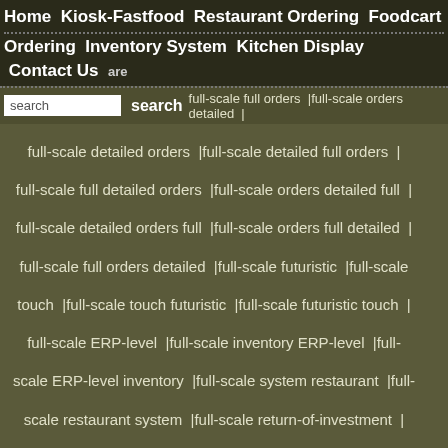Home  Kiosk-Fastfood  Restaurant Ordering  Foodcart Ordering  Inventory System  Kitchen Display  Contact Us
full-scale full orders | full-scale orders detailed | full-scale detailed orders | full-scale detailed full orders | full-scale full detailed orders | full-scale orders detailed full | full-scale detailed orders full | full-scale orders full detailed | full-scale full orders detailed | full-scale futuristic | full-scale touch | full-scale touch futuristic | full-scale futuristic touch | full-scale ERP-level | full-scale inventory ERP-level | full-scale ERP-level inventory | full-scale system restaurant | full-scale restaurant system | full-scale return-of-investment | full-scale premise | full-scale based | full-scale based premise | full-scale premise based | full-scale system premise | full-scale premise system | full-scale system based | full-scale based system | full-scale based premise system | full-scale premise based system | full-scale system based premise | full-scale based system premise | full-scale system